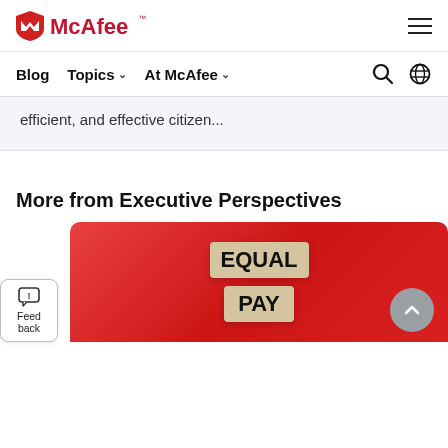[Figure (logo): McAfee logo with red shield icon and McAfee wordmark in red, with TM symbol]
efficient, and effective citizen...
Blog  Topics  At McAfee
More from Executive Perspectives
[Figure (photo): Photo of wooden letter tiles spelling EQUAL PAY on a red background]